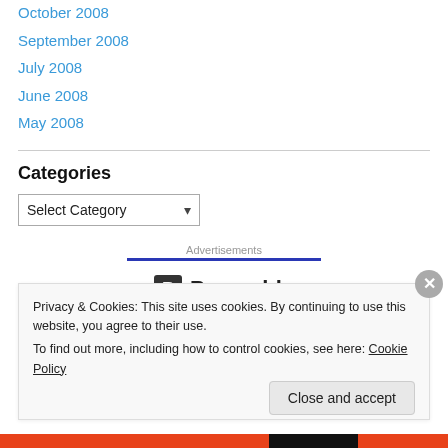October 2008
September 2008
July 2008
June 2008
May 2008
Categories
Select Category (dropdown)
Advertisements
[Figure (logo): Pressable logo with P icon]
Privacy & Cookies: This site uses cookies. By continuing to use this website, you agree to their use. To find out more, including how to control cookies, see here: Cookie Policy